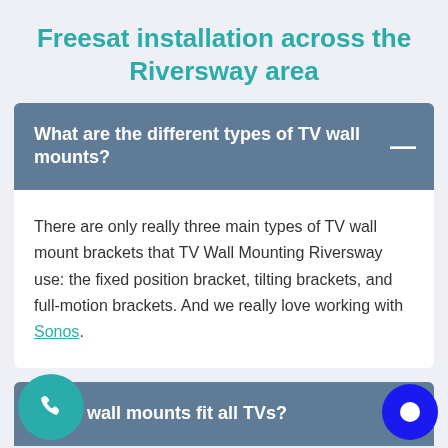Freesat installation across the Riversway area
What are the different types of TV wall mounts?
There are only really three main types of TV wall mount brackets that TV Wall Mounting Riversway use: the fixed position bracket, tilting brackets, and full-motion brackets. And we really love working with Sonos.
all TV wall mounts fit all TVs?